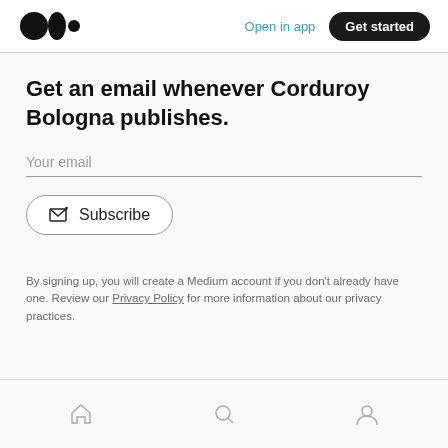Medium logo | Open in app | Get started
Get an email whenever Corduroy Bologna publishes.
Your email
Subscribe
By signing up, you will create a Medium account if you don't already have one. Review our Privacy Policy for more information about our privacy practices.
Home | Search | Profile